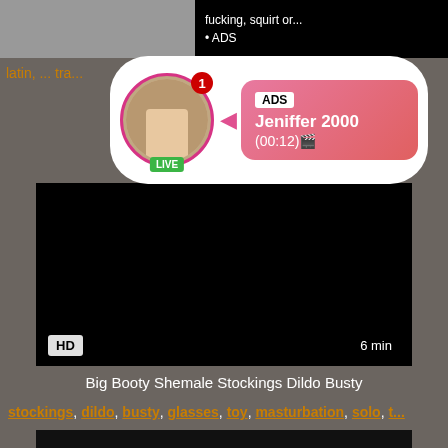[Figure (screenshot): Top bar with thumbnail image and text 'fucking, squirt or... ADS']
latin, ... tra...
[Figure (infographic): Ad overlay with live avatar, notification badge, arrow, and pink bubble showing: ADS Jeniffer 2000 (00:12)]
[Figure (screenshot): Main video player black screen with HD badge and 6 min duration label]
Big Booty Shemale Stockings Dildo Busty
stockings, dildo, busty, glasses, toy, masturbation, solo, t...
[Figure (screenshot): Bottom video thumbnail, black screen]